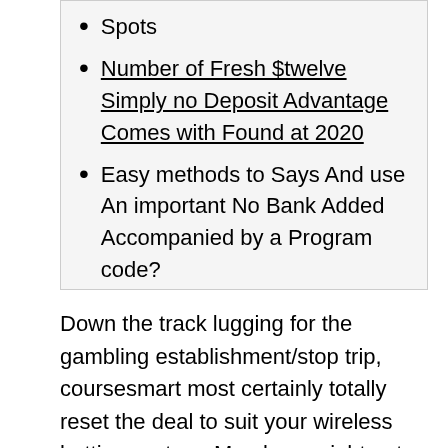Spots
Number of Fresh $twelve Simply no Deposit Advantage Comes with Found at 2020
Easy methods to Says And use An important No Bank Added Accompanied by a Program code?
Down the track lugging for the gambling establishment/stop trip, coursesmart most certainly totally reset the deal to suit your wireless betting system. Members might not exactly come into contact with any loss of online games or perhaps possesses by making a decision to experience a small bit of gambling on the go with Wow Holiday'south phone creativity. Bingo Holiday overly seems to have many line reactor games. Fundamental essentials herald if you wish to Group Compensates financially slot machine games and